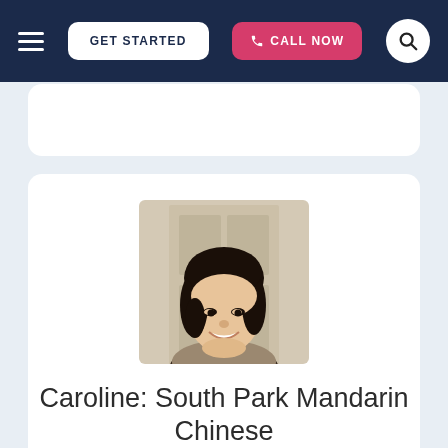GET STARTED | CALL NOW
[Figure (photo): Portrait photo of Caroline, a young woman with long dark hair, smiling, wearing a patterned top, in front of a white door]
Caroline: South Park Mandarin Chinese